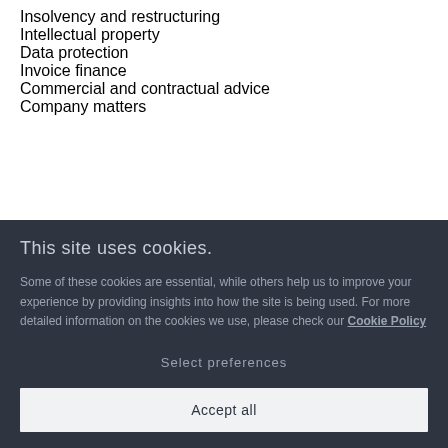Insolvency and restructuring
Intellectual property
Data protection
Invoice finance
Commercial and contractual advice
Company matters
This site uses cookies.
Some of these cookies are essential, while others help us to improve your experience by providing insights into how the site is being used. For more detailed information on the cookies we use, please check our Cookie Policy
Select preferences
Accept all